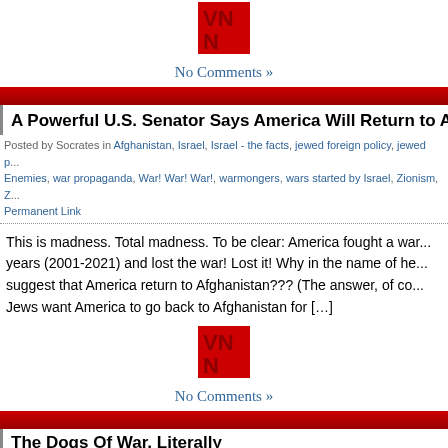[Figure (logo): VNN logo - red block letters V and N stacked]
No Comments »
[Figure (other): Red horizontal banner bar]
A Powerful U.S. Senator Says America Will Return to Afghani...
Posted by Socrates in Afghanistan, Israel, Israel - the facts, jewed foreign policy, jewed p... Enemies, war propaganda, War! War! War!, warmongers, wars started by Israel, Zionism, Z... Permanent Link
This is madness. Total madness. To be clear: America fought a war... years (2001-2021) and lost the war! Lost it! Why in the name of he... suggest that America return to Afghanistan??? (The answer, of co... Jews want America to go back to Afghanistan for [...]
[Figure (logo): VNN logo - red block letters V and N stacked]
No Comments »
[Figure (other): Red horizontal banner bar]
The Dogs Of War, Literally
Posted by Socrates in Afghanistan, Celler, chain immigration law, dogs, Hart-Celler Act of... Permanent Link
It will be interesting to see what happens to the 46 service dogs...